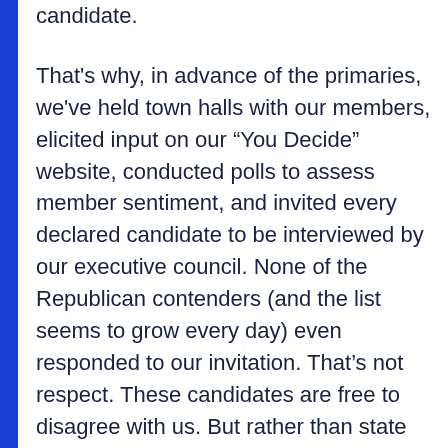candidate.
That's why, in advance of the primaries, we've held town halls with our members, elicited input on our “You Decide” website, conducted polls to assess member sentiment, and invited every declared candidate to be interviewed by our executive council. None of the Republican contenders (and the list seems to grow every day) even responded to our invitation. That’s not respect. These candidates are free to disagree with us. But rather than state their case and hear our side, they opted to ignore us. Apparently Wall Street billionaires are